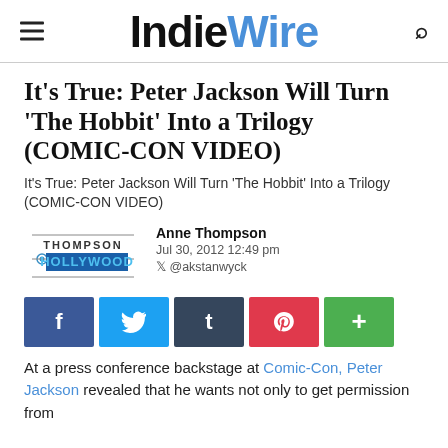IndieWire
It's True: Peter Jackson Will Turn 'The Hobbit' Into a Trilogy (COMIC-CON VIDEO)
It's True: Peter Jackson Will Turn 'The Hobbit' Into a Trilogy (COMIC-CON VIDEO)
Anne Thompson
Jul 30, 2012 12:49 pm
@akstanwyck
[Figure (logo): Thompson Hollywood author logo]
[Figure (infographic): Social share buttons: Facebook, Twitter, Tumblr, Pinterest, Plus]
At a press conference backstage at Comic-Con, Peter Jackson revealed that he wants not only to get permission from